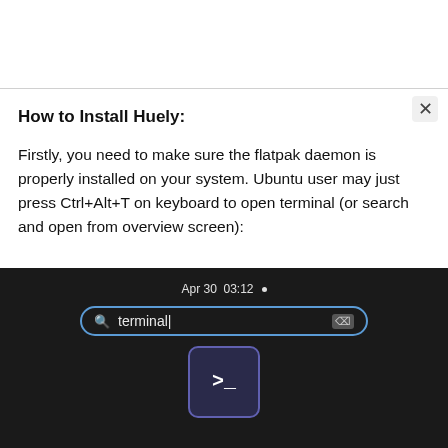How to Install Huely:
Firstly, you need to make sure the flatpak daemon is properly installed on your system. Ubuntu user may just press Ctrl+Alt+T on keyboard to open terminal (or search and open from overview screen):
[Figure (screenshot): Screenshot of Ubuntu GNOME overview screen showing a search bar with 'terminal' typed in it, and a terminal application icon below. The top bar shows 'Apr 30 03:12' with a dot indicator.]